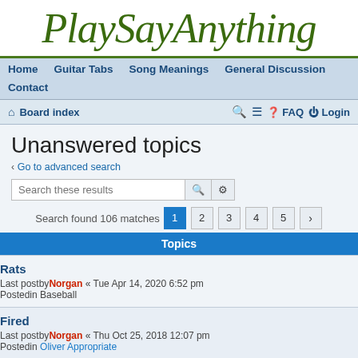PlaySayAnything
Home  Guitar Tabs  Song Meanings  General Discussion  Contact
Board index  FAQ  Login
Unanswered topics
Go to advanced search
Search these results
Search found 106 matches  1  2  3  4  5  >
Topics
Rats
Last postby Norgan « Tue Apr 14, 2020 6:52 pm
Postedin Baseball
Fired
Last postby Norgan « Thu Oct 25, 2018 12:07 pm
Postedin Oliver Appropriate